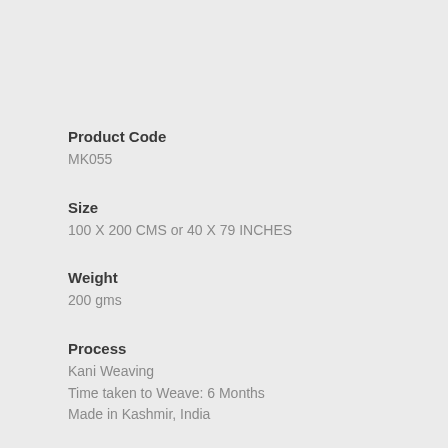Product Code
MK055
Size
100 X 200 CMS or 40 X 79 INCHES
Weight
200 gms
Process
Kani Weaving
Time taken to Weave: 6 Months
Made in Kashmir, India
Composition